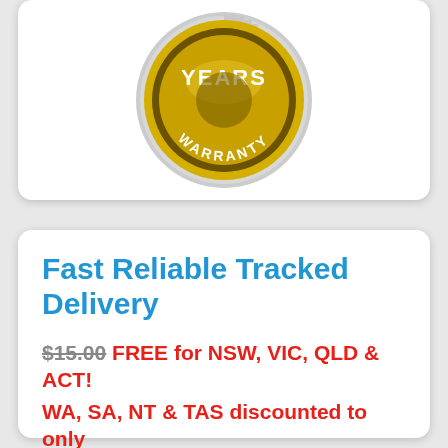[Figure (illustration): Gold warranty seal/badge showing 'YEARS WARRANTY' text in circular design with serrated edge]
Fast Reliable Tracked Delivery
$15.00 FREE for NSW, VIC, QLD & ACT! WA, SA, NT & TAS discounted to only $9.97